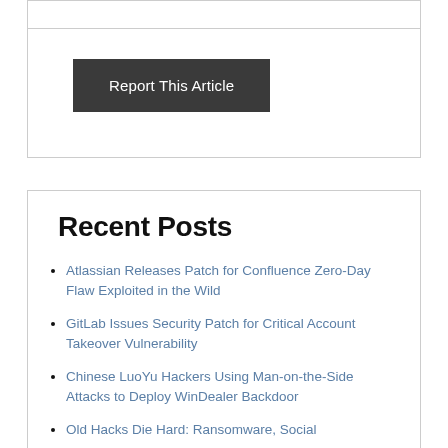Report This Article
Recent Posts
Atlassian Releases Patch for Confluence Zero-Day Flaw Exploited in the Wild
GitLab Issues Security Patch for Critical Account Takeover Vulnerability
Chinese LuoYu Hackers Using Man-on-the-Side Attacks to Deploy WinDealer Backdoor
Old Hacks Die Hard: Ransomware, Social